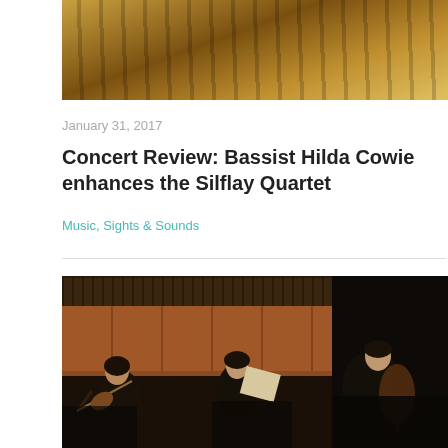[Figure (photo): Close-up of a golden/amber colored musical instrument, likely a harp or cello body, showing wooden curves and strings against a dark background.]
January 31, 2017
Concert Review: Bassist Hilda Cowie enhances the Silflay Quartet
Music, Sights & Sounds
[Figure (photo): Musicians performing on stage in a concert hall with wood paneled walls. A violinist is visible on the left, a pianist in the center background, and a cellist on the right, all dressed in black.]